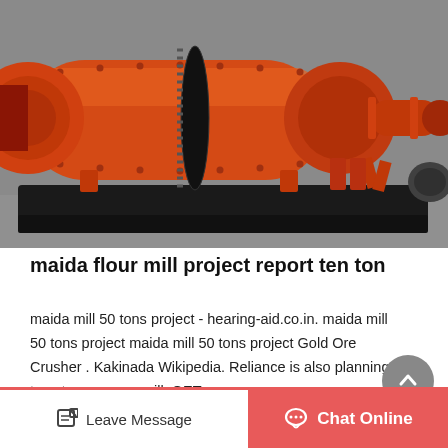[Figure (photo): Large orange industrial ball mill machine sitting on a black steel base in a factory/warehouse setting. The machine has a large cylindrical drum with a gear ring, and a discharge end with piping on the right side.]
maida flour mill project report ten ton
maida mill 50 tons project - hearing-aid.co.in. maida mill 50 tons project maida mill 50 tons project Gold Ore Crusher . Kakinada Wikipedia. Reliance is also planning to set up a sugar mill. GET...
Leave Message   Chat Online